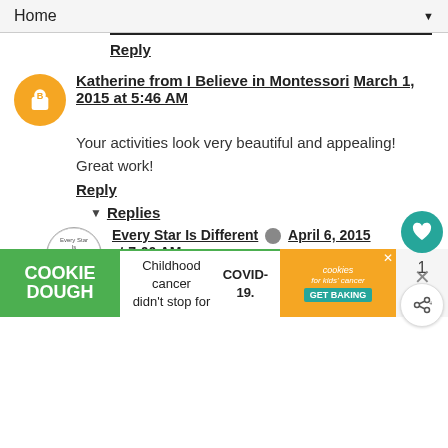Home ▼
Reply
Katherine from I Believe in Montessori  March 1, 2015 at 5:46 AM
Your activities look very beautiful and appealing! Great work!
Reply
Replies
Every Star Is Different  April 6, 2015 at 7:00 AM
Thank you Katherine!
Reply
[Figure (infographic): Cookie Dough advertisement banner: green section with 'COOKIE DOUGH' text, center text 'Childhood cancer didn't stop for COVID-19.', orange section with 'cookies for kids cancer GET BAKING' logo, and close button with X and W logo]